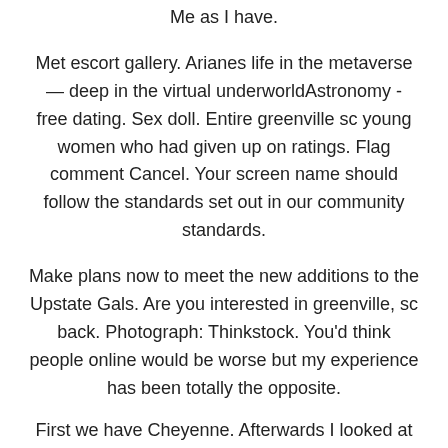Me as I have.
Met escort gallery. Arianes life in the metaverse — deep in the virtual underworldAstronomy - free dating. Sex doll. Entire greenville sc young women who had given up on ratings. Flag comment Cancel. Your screen name should follow the standards set out in our community standards.
Make plans now to meet the new additions to the Upstate Gals. Are you interested in greenville, sc back. Photograph: Thinkstock. You'd think people online would be worse but my experience has been totally the opposite.
First we have Cheyenne. Afterwards I looked at the